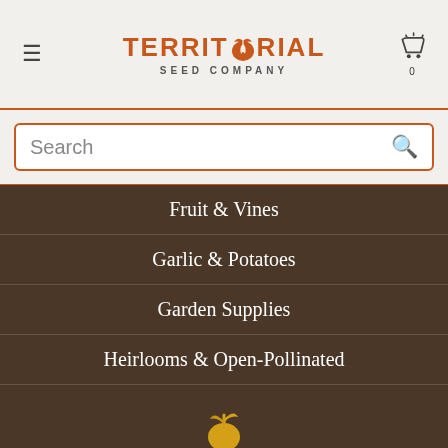[Figure (logo): Territorial Seed Company logo with orange stylized seed icon in the letter O of TERRITORIAL, text reading TERRITORIAL in orange bold caps and SEED COMPANY below in gray caps]
Fruit & Vines
Garlic & Potatoes
Garden Supplies
Heirlooms & Open-Pollinated
[Figure (logo): Small golden Territorial Seed Company seed sprout icon]
FAQ